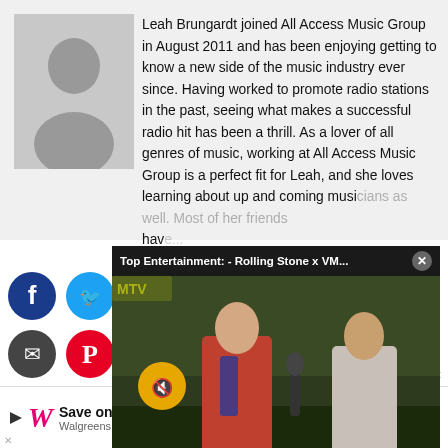[Figure (illustration): Gray placeholder avatar silhouette icon on light gray background]
Leah Brungardt joined All Access Music Group in August 2011 and has been enjoying getting to know a new side of the music industry ever since. Having worked to promote radio stations in the past, seeing what makes a successful radio hit has been a thrill. As a lover of all genres of music, working at All Access Music Group is a perfect fit for Leah, and she loves learning about up and coming musicians as well. Most of her friends have...
[Figure (screenshot): Floating video overlay showing 'Top Entertainment: - Rolling Stone x VM...' with a close button X, mute button, and a video of two people being interviewed on a red carpet, one in a red jacket holding a microphone]
[Figure (logo): Social media share icons: Facebook (blue), Twitter (light blue), StumbleUpon (red/orange), email (dark gray), Pinterest (red)]
[Figure (infographic): Advertisement banner: Walgreens 'Save on Select Cosmetics' ad with blue arrow icon and X close buttons]